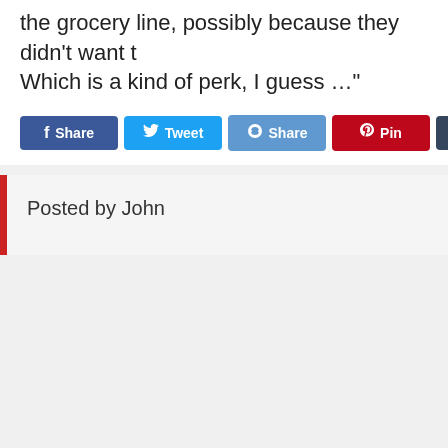the grocery line, possibly because they didn't want t Which is a kind of perk, I guess …"
[Figure (screenshot): Row of social media share buttons: Facebook Share, Twitter Tweet, Reddit Share, Pinterest Pin, Tumblr Share, Email (partially visible)]
Posted by John